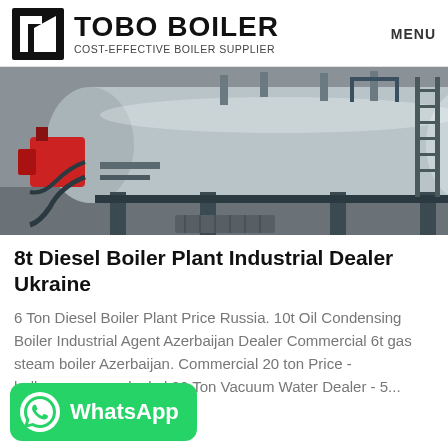TOBO BOILER — COST-EFFECTIVE BOILER SUPPLIER — MENU
[Figure (photo): Industrial diesel/oil boiler tank on a metal frame, horizontal cylindrical silver vessel with piping, red burner unit on left, ladder/railing on right, photographed in a warehouse or outdoor setting.]
8t Diesel Boiler Plant Industrial Dealer Ukraine
6 Ton Diesel Boiler Plant Price Russia. 10t Oil Condensing Boiler Industrial Agent Azerbaijan Dealer Commercial 6t gas steam boiler Azerbaijan. Commercial 20 ton Price - halloweenraamsdonkel 20 Ton Vacuum Water Dealer - 5...
[Figure (logo): WhatsApp button — green rounded rectangle with WhatsApp logo icon and text 'WhatsApp']
Get Price